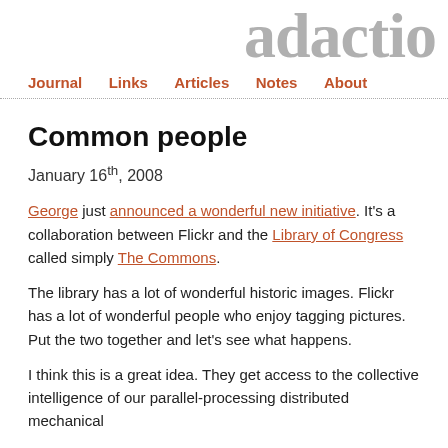adactio
Journal  Links  Articles  Notes  About
Common people
January 16th, 2008
George just announced a wonderful new initiative. It's a collaboration between Flickr and the Library of Congress called simply The Commons.
The library has a lot of wonderful historic images. Flickr has a lot of wonderful people who enjoy tagging pictures. Put the two together and let's see what happens.
I think this is a great idea. They get access to the collective intelligence of our parallel-processing distributed mechanical